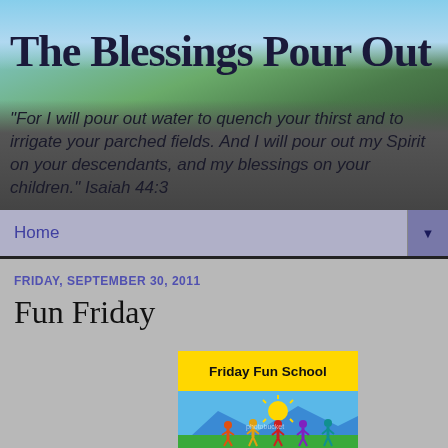The Blessings Pour Out
"For I will pour out water to quench your thirst and to irrigate your parched fields. And I will pour out my Spirit on your descendants, and my blessings on your children." Isaiah 44:3
Home
FRIDAY, SEPTEMBER 30, 2011
Fun Friday
[Figure (illustration): Friday Fun School logo with yellow banner text and cartoon children figures on a blue and green background]